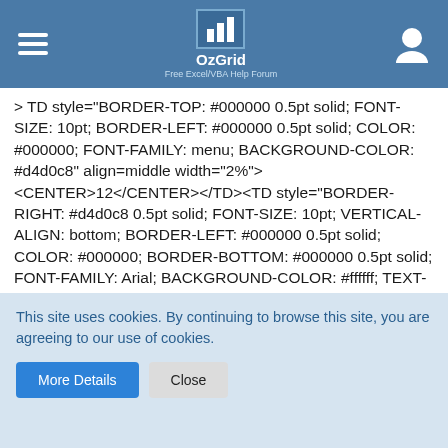OzGrid Free Excel/VBA Help Forum
&gt; <TD style="BORDER-TOP: #000000 0.5pt solid; FONT-SIZE: 10pt; BORDER-LEFT: #000000 0.5pt solid; COLOR: #000000; FONT-FAMILY: menu; BACKGROUND-COLOR: #d4d0c8" align=middle width="2%">&lt;CENTER&gt;12</CENTER&gt;</TD&gt;<TD style="BORDER-RIGHT: #d4d0c8 0.5pt solid; FONT-SIZE: 10pt; VERTICAL-ALIGN: bottom; BORDER-LEFT: #000000 0.5pt solid; COLOR: #000000; BORDER-BOTTOM: #000000 0.5pt solid; FONT-FAMILY: Arial; BACKGROUND-COLOR: #ffffff; TEXT-ALIGN: right">&gt;6</TD&gt;<TD style="BORDER-RIGHT: #000000 1.5pt solid; FONT-SIZE: 10pt; VERTICAL-ALIGN: bottom; COLOR: #000000; BORDER-BOTTOM: #000000 0.5pt solid; FONT-FAMILY: Arial; BACKGROUND-COLOR: #ffffff; TEXT-ALIGN: center">&gt;&nbsp;</TD&gt;<TD style="BORDER-RIGHT: #000000 1.5pt solid; FONT-SIZE: 10pt; VERTICAL-ALIGN-ALIGN:
This site uses cookies. By continuing to browse this site, you are agreeing to our use of cookies.